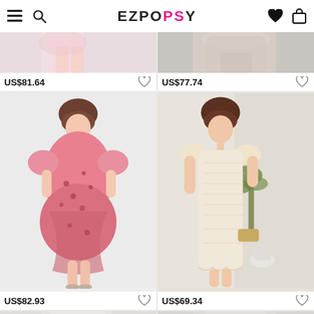EZPOPSY — navigation header with menu, search, wishlist, cart icons
[Figure (photo): Partial view of a woman's legs wearing a floral dress, cropped at top, price US$81.64]
[Figure (photo): Partial view of a woman wearing a dress, cropped at top, price US$77.74]
[Figure (photo): Woman wearing a pink floral V-neck ruched midi dress with puff sleeves, price US$82.93]
[Figure (photo): Woman wearing a cream/beige lace bodycon dress with ruffle shoulders, price US$69.34]
[Figure (photo): Partial view bottom — two product images partially visible at bottom of page]